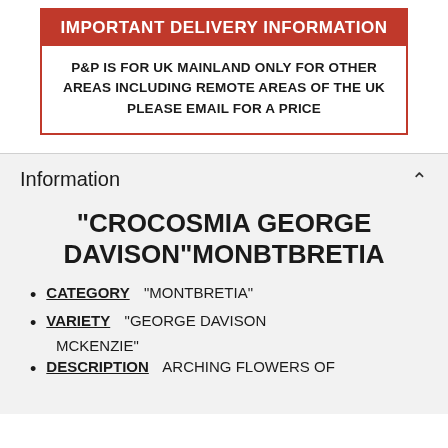| IMPORTANT DELIVERY INFORMATION |
| --- |
| P&P IS FOR UK MAINLAND ONLY FOR OTHER AREAS INCLUDING REMOTE AREAS OF THE UK PLEASE EMAIL FOR A PRICE |
Information
"CROCOSMIA GEORGE DAVISON"MONBTBRETIA
CATEGORY  "MONTBRETIA"
VARIETY  "GEORGE DAVISON MCKENZIE"
DESCRIPTION  ARCHING FLOWERS OF